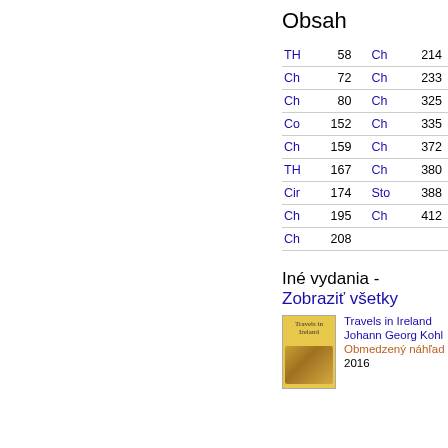Obsah
| Link | Page | Link | Page |
| --- | --- | --- | --- |
| TH | 58 | Ch | 214 |
| Ch | 72 | Ch | 233 |
| Ch | 80 | Ch | 325 |
| Co | 152 | Ch | 335 |
| Ch | 159 | Ch | 372 |
| TH | 167 | Ch | 380 |
| Cir | 174 | Sto | 388 |
| Ch | 195 | Ch | 412 |
| Ch | 208 |  |  |
Iné vydania - Zobraziť všetky
[Figure (illustration): Book cover of Travels in Ireland, yellow background with illustration of figures]
Travels in Ireland
Johann Georg Kohl
Obmedzený náhľad
2016